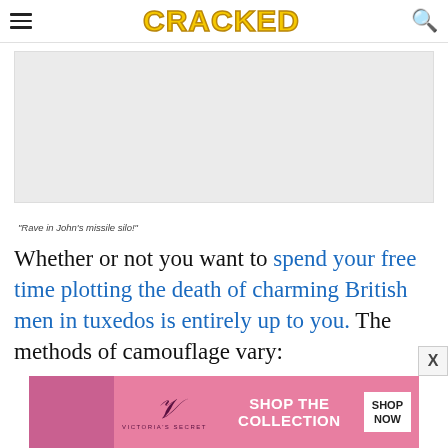CRACKED
[Figure (other): Gray advertisement placeholder rectangle]
"Rave in John's missile silo!"
Whether or not you want to spend your free time plotting the death of charming British men in tuxedos is entirely up to you. The methods of camouflage vary:
[Figure (other): Victoria's Secret advertisement banner with model photo, VS logo, 'SHOP THE COLLECTION' text and 'SHOP NOW' button]